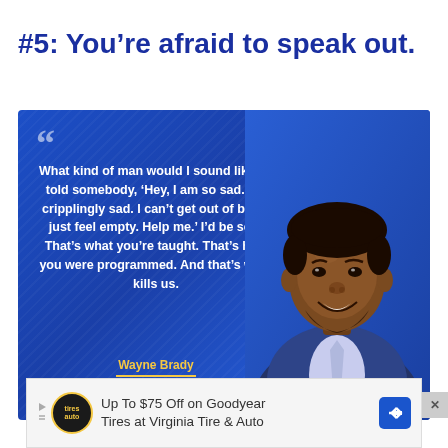#5: You’re afraid to speak out.
[Figure (photo): Quote graphic on blue background featuring Wayne Brady quote: 'What kind of man would I sound like if I told somebody, ‘Hey, I am so sad. I’m cripplingly sad. I can’t get out of bed. I just feel empty. Help me.’ I’d be soft. That’s what you’re taught. That’s how you were programmed. And that’s what kills us.' attributed to Wayne Brady, with a photo of a smiling Black man in a blue suit. Science of People logo at bottom left.]
Up To $75 Off on Goodyear Tires at Virginia Tire & Auto